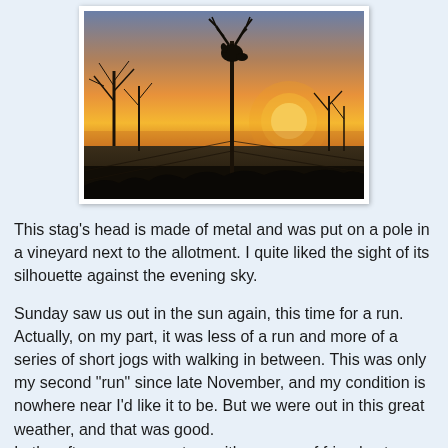[Figure (photo): A silhouette of a metal stag's head mounted on a pole against a golden sunset sky, with bare trees visible in the background. The scene is a vineyard or countryside setting at dusk.]
This stag's head is made of metal and was put on a pole in a vineyard next to the allotment. I quite liked the sight of its silhouette against the evening sky.
Sunday saw us out in the sun again, this time for a run. Actually, on my part, it was less of a run and more of a series of short jogs with walking in between. This was only my second "run" since late November, and my condition is nowhere near I'd like it to be. But we were out in this great weather, and that was good.
In the afternoon, we met up with a group of friends at a café in a very picturesque village/small town nearby. It being such